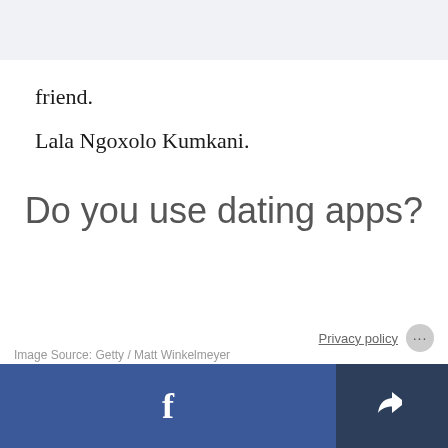[Figure (screenshot): Top banner area with light gray background, representing a webpage header region]
friend.
Lala Ngoxolo Kumkani.
Do you use dating apps?
Privacy policy
Image Source: Getty / Matt Winkelmeyer
Facebook share button and share/export button